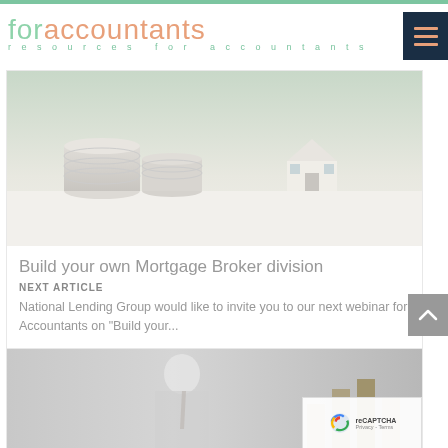[Figure (logo): forAccountants logo with green 'for' and orange 'accountants' text, subtitle 'resources for accountants']
[Figure (photo): Stacked coins and small house model on a white surface — mortgage/finance concept image]
Build your own Mortgage Broker division
NEXT ARTICLE
National Lending Group would like to invite you to our next webinar for Accountants on "Build your..."
[Figure (photo): Person in suit with financial charts or documents — finance/accounting concept image]